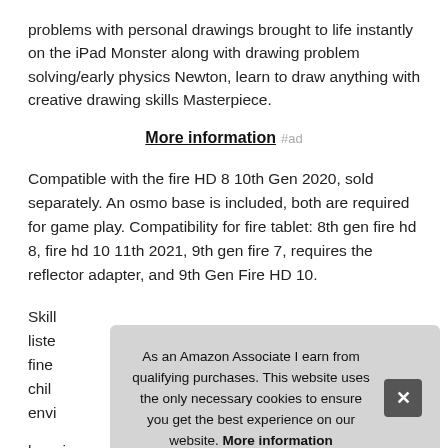problems with personal drawings brought to life instantly on the iPad Monster along with drawing problem solving/early physics Newton, learn to draw anything with creative drawing skills Masterpiece.
More information #ad
Compatible with the fire HD 8 10th Gen 2020, sold separately. An osmo base is included, both are required for game play. Compatibility for fire tablet: 8th gen fire hd 8, fire hd 10 11th 2021, 9th gen fire 7, requires the reflector adapter, and 9th Gen Fire HD 10.
Skill...
learning games. What's in the box: osmo base & reflector for
As an Amazon Associate I earn from qualifying purchases. This website uses the only necessary cookies to ensure you get the best experience on our website. More information